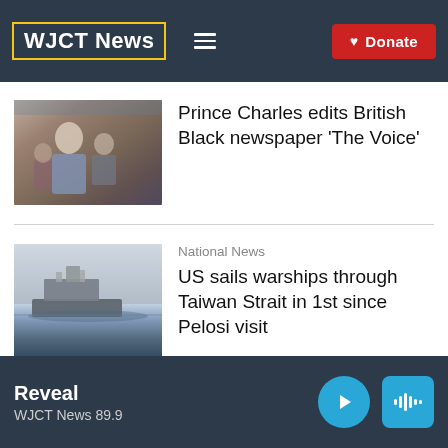WJCT News
[Figure (screenshot): Thumbnail photo of Prince Charles in a suit at an outdoor event with other people]
Prince Charles edits British Black newspaper 'The Voice'
National News
[Figure (screenshot): Thumbnail photo of US warships sailing on ocean]
US sails warships through Taiwan Strait in 1st since Pelosi visit
Reveal
WJCT News 89.9